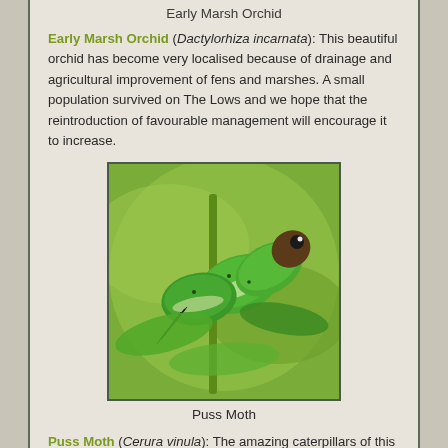Early Marsh Orchid
Early Marsh Orchid (Dactylorhiza incarnata): This beautiful orchid has become very localised because of drainage and agricultural improvement of fens and marshes. A small population survived on The Lows and we hope that the reintroduction of favourable management will encourage it to increase.
[Figure (photo): Close-up photograph of Puss Moth caterpillars (green with white markings and black spots) feeding on leaves of a willow plant]
Puss Moth
Puss Moth (Cerura vinula): The amazing caterpillars of this large moth may be found feeding on willow leaves around the edges of this site between July and September.